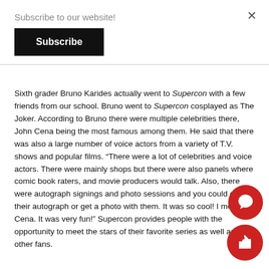Subscribe to our website!
Subscribe
Sixth grader Bruno Karides actually went to Supercon with a few friends from our school. Bruno went to Supercon cosplayed as The Joker. According to Bruno there were multiple celebrities there, John Cena being the most famous among them. He said that there was also a large number of voice actors from a variety of T.V. shows and popular films. “There were a lot of celebrities and voice actors. There were mainly shops but there were also panels where comic book raters, and movie producers would talk. Also, there were autograph signings and photo sessions and you could get their autograph or get a photo with them. It was so cool! I met John Cena. It was very fun!” Supercon provides people with the opportunity to meet the stars of their favorite series as well as other fans.